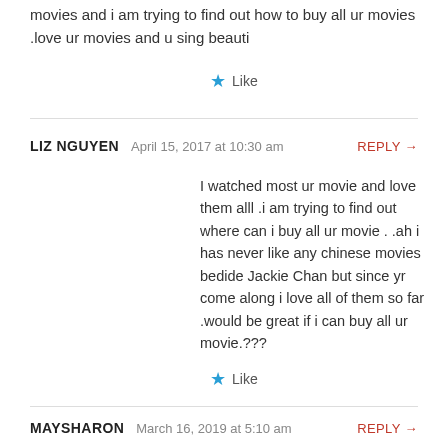movies and i am trying to find out how to buy all ur movies .love ur movies and u sing beauti
Like
LIZ NGUYEN  April 15, 2017 at 10:30 am  REPLY →
I watched most ur movie and love them alll .i am trying to find out where can i buy all ur movie . .ah i has never like any chinese movies bedide Jackie Chan but since yr come along i love all of them so far .would be great if i can buy all ur movie.???
Like
MAYSHARON  March 16, 2019 at 5:10 am  REPLY →